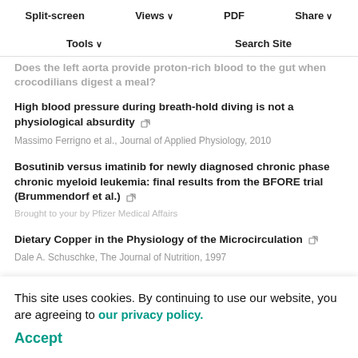Split-screen | Views | PDF | Share | Tools | Search Site
Does the left aorta provide proton-rich blood to the gut when crocodilians digest a meal?
High blood pressure during breath-hold diving is not a physiological absurdity — Massimo Ferrigno et al., Journal of Applied Physiology, 2010
Bosutinib versus imatinib for newly diagnosed chronic phase chronic myeloid leukemia: final results from the BFORE trial (Brummendorf et al.) — Brought to your by Pfizer Medical Affairs
Dietary Copper in the Physiology of the Microcirculation — Dale A. Schuschke, The Journal of Nutrition, 1997
Von Willebrand Factor Restores Impaired Platelet Thrombogenesis in Copper-Deficient Rats
This site uses cookies. By continuing to use our website, you are agreeing to our privacy policy. Accept